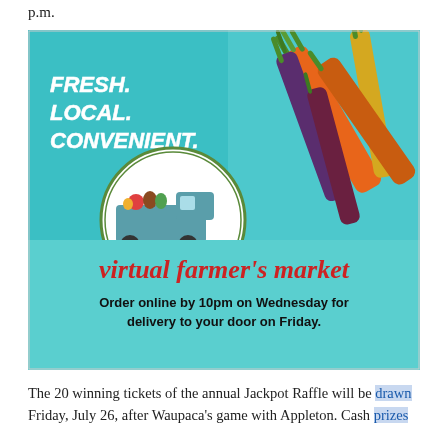p.m.
[Figure (infographic): Farm Fresh Xpress virtual farmer's market advertisement. Teal/turquoise background with colorful carrots (orange, purple, yellow) in upper right. Upper left text reads 'FRESH. LOCAL. CONVENIENT.' in white bold italic. Center-left has a circular logo of a teal farm truck loaded with produce. Below logo: 'Farm Fresh Xpress' in bold black with red accent, 'Local. Food. Delivered.' in smaller text. Below the photo section, on teal: 'virtual farmer's market' in large red text. Then 'Order online by 10pm on Wednesday for delivery to your door on Friday.' in bold black text.]
The 20 winning tickets of the annual Jackpot Raffle will be drawn Friday, July 26, after Waupaca's game with Appleton. Cash prizes